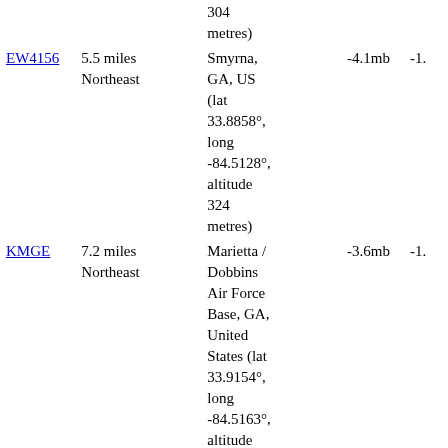| Station | Distance | Location | Pressure | Other |
| --- | --- | --- | --- | --- |
|  |  | 304 metres) |  |  |
| EW4156 | 5.5 miles Northeast | Smyrna, GA, US (lat 33.8858°, long -84.5128°, altitude 324 metres) | -4.1mb | -1. |
| KMGE | 7.2 miles Northeast | Marietta / Dobbins Air Force Base, GA, United States (lat 33.9154°, long -84.5163°, altitude 326 metres) | -3.6mb | -1. |
| CW0498 | 7.5 miles Northwest | Powder Springs |  |  |